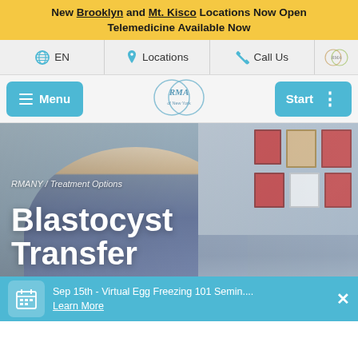New Brooklyn and Mt. Kisco Locations Now Open
Telemedicine Available Now
[Figure (screenshot): Navigation bar with globe EN, location pin Locations, phone Call Us, and RMA logo icons]
[Figure (screenshot): Menu bar with teal Menu button (hamburger), RMA of New York logo center, and teal Start button with dots]
[Figure (photo): Hero image of two people (doctor and patient) sitting at a table with framed diplomas/awards on the wall behind them]
RMANY / Treatment Options
Blastocyst Transfer
Sep 15th - Virtual Egg Freezing 101 Semin.... Learn More